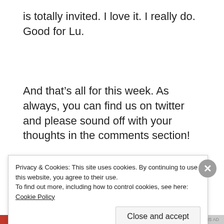is totally invited.  I love it.  I really do.  Good for Lu.
And that’s all for this week.  As always, you can find us on twitter and please sound off with your thoughts in the comments section!
Recap written by Liz
Privacy & Cookies: This site uses cookies. By continuing to use this website, you agree to their use.
To find out more, including how to control cookies, see here: Cookie Policy
Close and accept